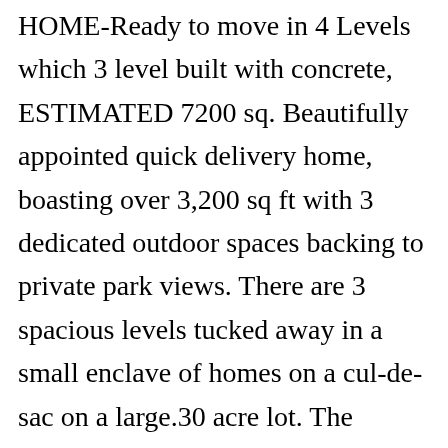HOME-Ready to move in 4 Levels which 3 level built with concrete, ESTIMATED 7200 sq. Beautifully appointed quick delivery home, boasting over 3,200 sq ft with 3 dedicated outdoor spaces backing to private park views. There are 3 spacious levels tucked away in a small enclave of homes on a cul-de-sac on a large.30 acre lot. The screened porch and deck off the great room create the perfect indoor/outdoor entertaining space. The upper level has an owner's suite area and 3 additional bedrooms - 1 with an en-suite bath. Over 138 homebuilders have together in the